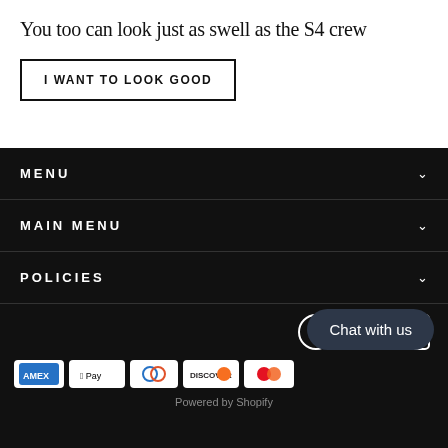You too can look just as swell as the S4 crew
I WANT TO LOOK GOOD
MENU
MAIN MENU
POLICIES
[Figure (logo): Social media icons: Facebook, Instagram, YouTube]
[Figure (logo): Payment method icons: Amex, Apple Pay, Diners Club, Discover, Mastercard]
Chat with us
Powered by Shopify